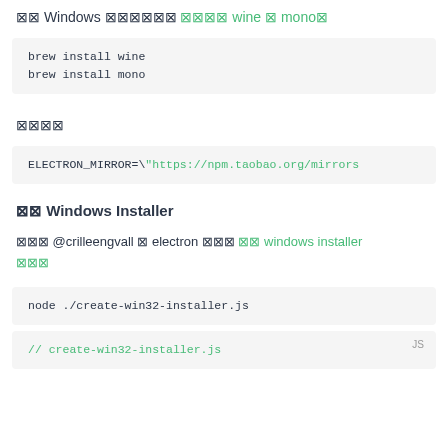⊠⊠ Windows ⊠⊠⊠⊠⊠⊠ ⊠⊠⊠⊠ wine ⊠ mono⊠
brew install wine
brew install mono
⊠⊠⊠⊠
ELECTRON_MIRROR=\"https://npm.taobao.org/mirrors
⊠⊠ Windows Installer
⊠⊠⊠ @crilleengvall ⊠ electron ⊠⊠⊠ ⊠⊠ windows installer ⊠⊠⊠
node ./create-win32-installer.js
// create-win32-installer.js